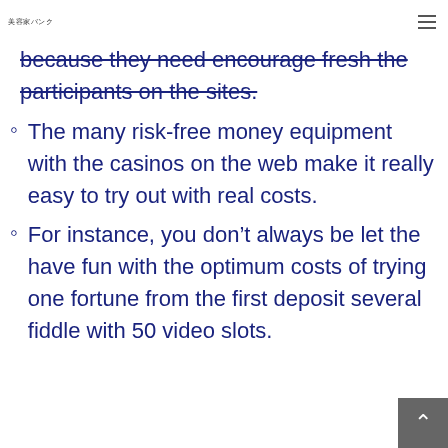美容家バンク
because they need encourage fresh the participants on the sites.
The many risk-free money equipment with the casinos on the web make it really easy to try out with real costs.
For instance, you don't always be let the have fun with the optimum costs of trying one fortune from the first deposit several fiddle with 50 video slots.